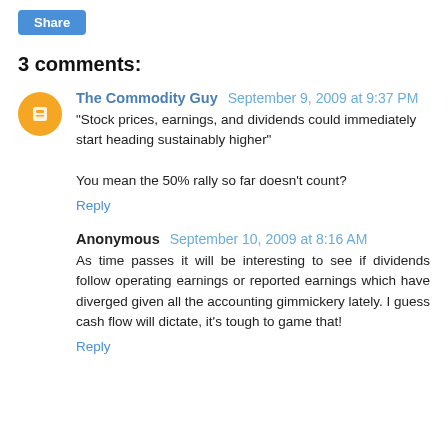Share
3 comments:
The Commodity Guy  September 9, 2009 at 9:37 PM
"Stock prices, earnings, and dividends could immediately start heading sustainably higher"

You mean the 50% rally so far doesn't count?
Reply
Anonymous  September 10, 2009 at 8:16 AM
As time passes it will be interesting to see if dividends follow operating earnings or reported earnings which have diverged given all the accounting gimmickery lately. I guess cash flow will dictate, it's tough to game that!
Reply